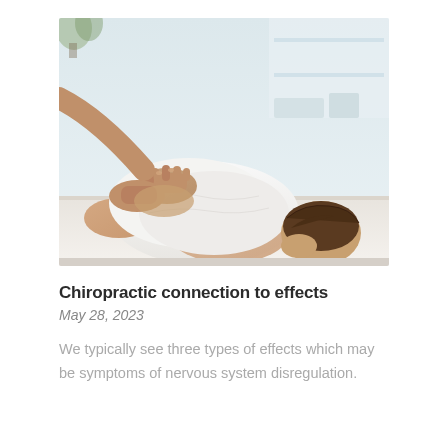[Figure (photo): A person lying face-down on a treatment table wearing a white tank top, with a chiropractor's hands pressing on their lower back/spine area. The background shows a bright, clinical-looking room.]
Chiropractic connection to effects
May 28, 2023
We typically see three types of effects which may be symptoms of nervous system disregulation.